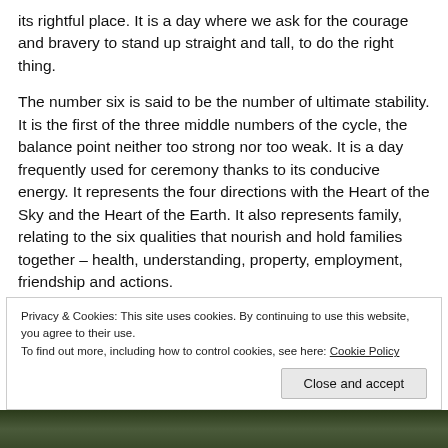its rightful place. It is a day where we ask for the courage and bravery to stand up straight and tall, to do the right thing.
The number six is said to be the number of ultimate stability. It is the first of the three middle numbers of the cycle, the balance point neither too strong nor too weak. It is a day frequently used for ceremony thanks to its conducive energy. It represents the four directions with the Heart of the Sky and the Heart of the Earth. It also represents family, relating to the six qualities that nourish and hold families together – health, understanding, property, employment, friendship and actions.
Privacy & Cookies: This site uses cookies. By continuing to use this website, you agree to their use. To find out more, including how to control cookies, see here: Cookie Policy
Close and accept
[Figure (photo): Narrow strip of outdoor nature/forest photograph at the bottom of the page]